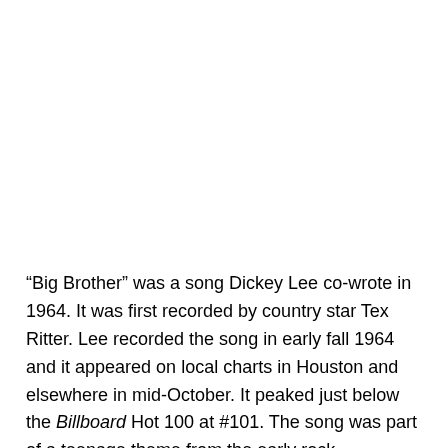“Big Brother” was a song Dickey Lee co-wrote in 1964. It was first recorded by country star Tex Ritter. Lee recorded the song in early fall 1964 and it appeared on local charts in Houston and elsewhere in mid-October. It peaked just below the Billboard Hot 100 at #101. The song was part of a teenage theme from the early rock